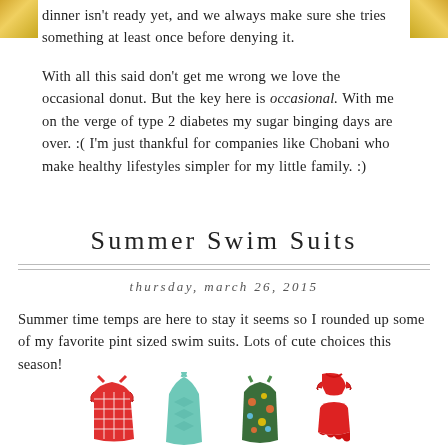dinner isn't ready yet, and we always make sure she tries something at least once before denying it.
With all this said don't get me wrong we love the occasional donut. But the key here is occasional. With me on the verge of type 2 diabetes my sugar binging days are over. :( I'm just thankful for companies like Chobani who make healthy lifestyles simpler for my little family. :)
Summer Swim Suits
thursday, march 26, 2015
Summer time temps are here to stay it seems so I rounded up some of my favorite pint sized swim suits. Lots of cute choices this season!
[Figure (photo): Four children's swimsuits: red gingham one-piece, teal/mint halter one-piece, colorful tropical print one-piece, and red two-piece with ruffles]